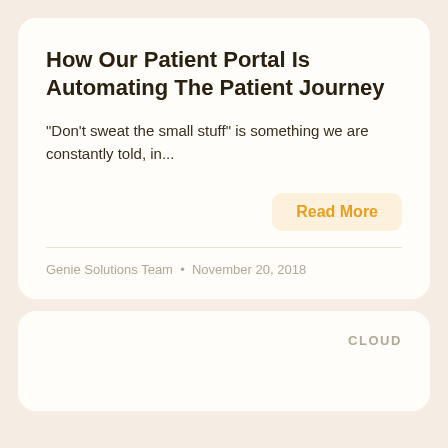How Our Patient Portal Is Automating The Patient Journey
“Don't sweat the small stuff” is something we are constantly told, in...
Read More
Genie Solutions Team • November 20, 2018
CLOUD